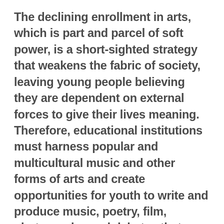The declining enrollment in arts, which is part and parcel of soft power, is a short-sighted strategy that weakens the fabric of society, leaving young people believing they are dependent on external forces to give their lives meaning. Therefore, educational institutions must harness popular and multicultural music and other forms of arts and create opportunities for youth to write and produce music, poetry, film, photography, and debates that resonate with the citizenry, identity, unity, diversity, equality, and most importantly the value of human life and family. These mediums are not merely entertainment but